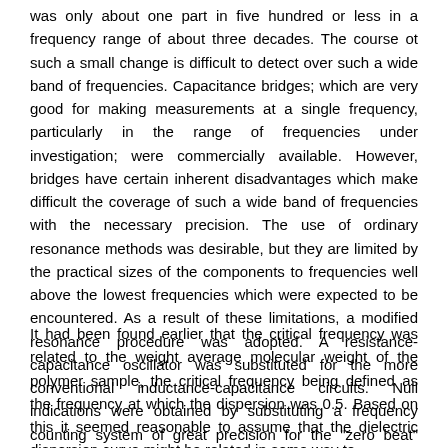was only about one part in five hundred or less in a frequency range of about three decades. The course ot such a small change is difficult to detect over such a wide band of frequencies. Capacitance bridges; which are very good for making measurements at a single frequency, particularly in the range of frequencies under investigation; were commercially available. However, bridges have certain inherent disadvantages which make difficult the coverage of such a wide band of frequencies with the necessary precision. The use of ordinary resonance methods was desirable, but they are limited by the practical sizes of the components to frequencies well above the lowest frequencies which were expected to be encountered. As a result of these limitations, a modified resonance procedure was adopted. A resistance-capacitance oscillator was substituted for the more conventional inductance-capacitance circuits. Null indications were obtained by substituting a frequency counting system of great precision for the "zero beat" method.
It had been found earlier that the critical frequency was related to the weight average molecular weight of the polymer sample, the critical frequency being defined as the frequency at which the dispersion was 0.5. Based on this it seemed reasonable to assume that the dielectric dispersion curve might be related in some way to